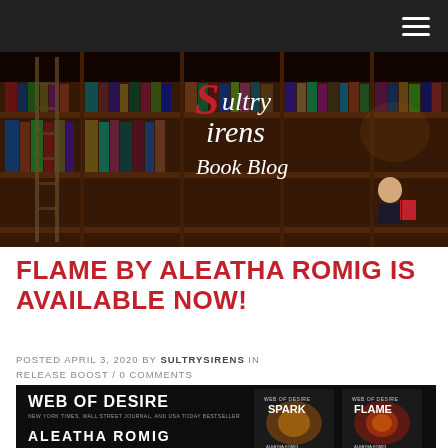Navigation bar with hamburger menu
[Figure (illustration): Sultry Sirens Book Blog banner with library bookshelf background and cartoon girl reading a book]
FLAME BY ALEATHA ROMIG IS AVAILABLE NOW!
POSTED APRIL 3, 2020 BY SULTRYSIRENS IN RELEASE BOOST / 0 COMMENTS
[Figure (photo): Web of Desire series by Aleatha Romig promotional image showing book covers for SPARK and FLAME on dark background]